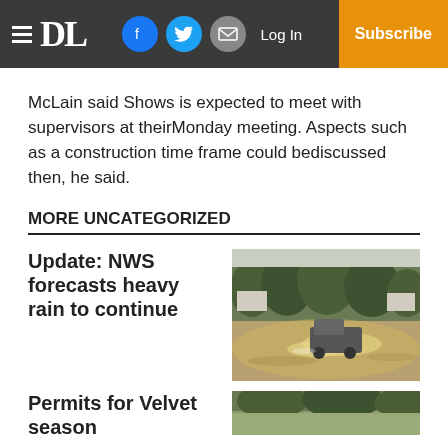DL | Log In | Subscribe
McLain said Shows is expected to meet with supervisors at theirMonday meeting. Aspects such as a construction time frame could bediscussed then, he said.
MORE UNCATEGORIZED
Update: NWS forecasts heavy rain to continue
[Figure (photo): A truck driving through floodwaters on a road lined with trees; muddy brown water splashing around the vehicle.]
Permits for Velvet season